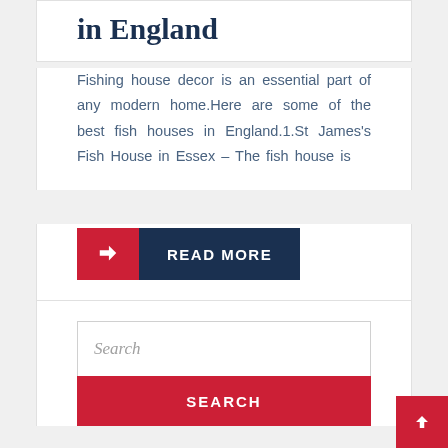in England
Fishing house decor is an essential part of any modern home.Here are some of the best fish houses in England.1.St James's Fish House in Essex – The fish house is
READ MORE
Search
SEARCH